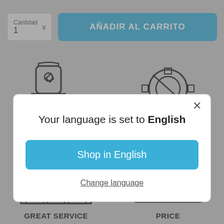[Figure (screenshot): Screenshot of an e-commerce website in Spanish showing a quantity selector labeled 'Cantidad 1' and a blue 'AÑADIR AL CARRITO' (Add to Cart) button at the top, with illustrated icons partially visible in the background, overlaid by a modal dialog.]
Cantidad
1
AÑADIR AL CARRITO
Your language is set to English
Shop in English
Change language
GREAT SERVICE
PRICE